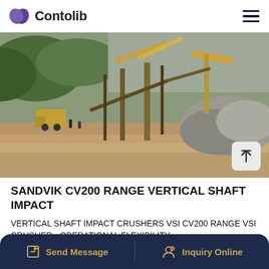[Figure (logo): Contolib logo with purple leaf/shield icon and bold dark text 'Contolib']
[Figure (photo): Outdoor quarry/mining site with heavy machinery, conveyor belts, yellow cranes, large piles of crushed stone/rock, and a dirt road in the foreground. Mountains visible in background.]
SANDVIK CV200 RANGE VERTICAL SHAFT IMPACT
VERTICAL SHAFT IMPACT CRUSHERS VSI CV200 RANGE VSI CRUSHER - OPERATIONAL FLEXIBILITY Sandvik Stationary VSI impact crushers are designed for high...